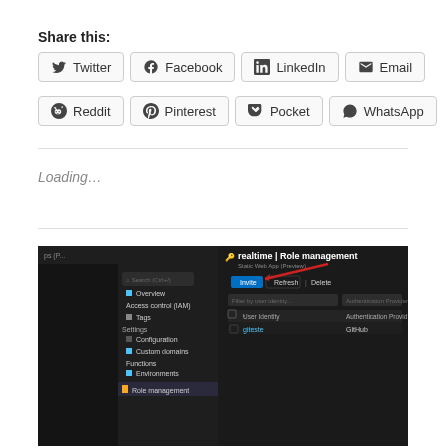Share this:
Twitter  Facebook  LinkedIn  Email  Reddit  Pinterest  Pocket  WhatsApp
Loading...
[Figure (screenshot): Screenshot of Azure portal showing 'realtime | Role management' page for a Static Web App (Preview), with a navigation sidebar on the left listing Overview, Access control (IAM), Tags, Settings (Configuration, Custom domains, Functions, Environments, Role management), and a main panel showing Invite, Refresh, Delete buttons, a filter by user identity field, Authentication Provider dropdown, User Identity and Authentication Provider columns, with one entry showing 'giteste' authenticated via GitHub. A red arrow points to the Invite button.]